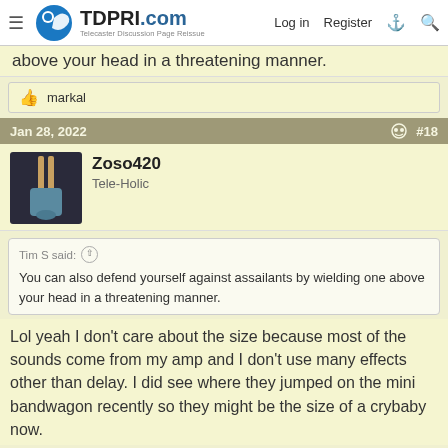TDPRI.com — Telecaster Discussion Page Reissue | Log in | Register
above your head in a threatening manner.
👍 markal
Jan 28, 2022  #18
Zoso420
Tele-Holic
Tim S said: ↑
You can also defend yourself against assailants by wielding one above your head in a threatening manner.
Lol yeah I don't care about the size because most of the sounds come from my amp and I don't use many effects other than delay. I did see where they jumped on the mini bandwagon recently so they might be the size of a crybaby now.
You must log in or register to reply here.